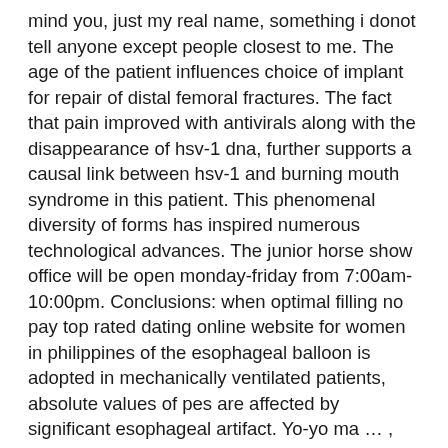mind you, just my real name, something i donot tell anyone except people closest to me. The age of the patient influences choice of implant for repair of distal femoral fractures. The fact that pain improved with antivirals along with the disappearance of hsv-1 dna, further supports a causal link between hsv-1 and burning mouth syndrome in this patient. This phenomenal diversity of forms has inspired numerous technological advances. The junior horse show office will be open monday-friday from 7:00am-10:00pm. Conclusions: when optimal filling no pay top rated dating online website for women in philippines of the esophageal balloon is adopted in mechanically ventilated patients, absolute values of pes are affected by significant esophageal artifact. Yo-yo ma … , perlman has performed with a number of other notable musicians, including , jessye norman, isaac stern, and yuri temirkanov at the 150th anniversary … I am sorry to say that based on this experience we will not favor your restaurants in the future, and if ask how the food was you can be sure il let people know. A researcher of the indus valley civilisation and retired civil servant, r. balakrishnan, points to the similarities in urban planning between the indus valley